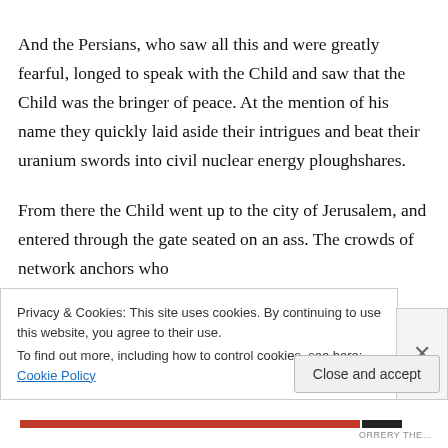And the Persians, who saw all this and were greatly fearful, longed to speak with the Child and saw that the Child was the bringer of peace. At the mention of his name they quickly laid aside their intrigues and beat their uranium swords into civil nuclear energy ploughshares.
From there the Child went up to the city of Jerusalem, and entered through the gate seated on an ass. The crowds of network anchors who had followed him from afar and children waving...
Privacy & Cookies: This site uses cookies. By continuing to use this website, you agree to their use.
To find out more, including how to control cookies, see here: Cookie Policy